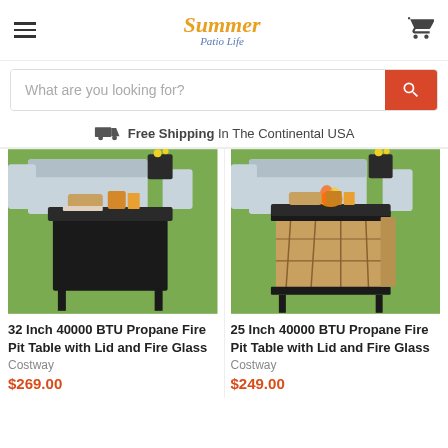Summer Patio Life - navigation header with hamburger menu, logo, and cart icon
What are you looking for? [search bar]
Free Shipping In The Continental USA
[Figure (photo): 32 Inch 40000 BTU Propane Fire Pit Table with Lid and Fire Glass - outdoor patio furniture scene with black fire pit table on green grass, sofa and chairs in background]
32 Inch 40000 BTU Propane Fire Pit Table with Lid and Fire Glass
Costway
$269.00
[Figure (photo): 25 Inch 40000 BTU Propane Fire Pit Table with Lid and Fire Glass - outdoor patio furniture scene with brown/tan fire pit table on green grass with active flame, sofa and chairs in background]
25 Inch 40000 BTU Propane Fire Pit Table with Lid and Fire Glass
Costway
$249.00